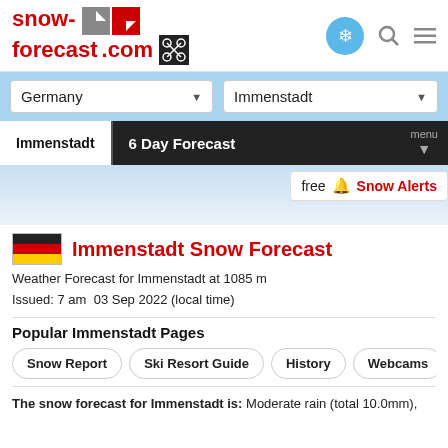snow-forecast.com
Germany | Immenstadt
Immenstadt | 6 Day Forecast
free Snow Alerts
Immenstadt Snow Forecast
Weather Forecast for Immenstadt at 1085m
Issued: 7am  03 Sep 2022 (local time)
Popular Immenstadt Pages
Snow Report
Ski Resort Guide
History
Webcams
P
The snow forecast for Immenstadt is: Moderate rain (total 10.0mm),